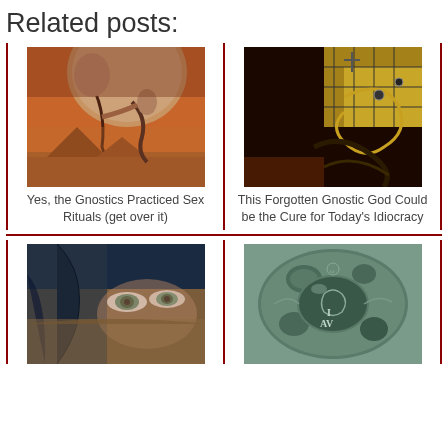Related posts:
[Figure (photo): Digital artwork showing a large alien or giant figure bending over pyramids in a desert landscape under a large moon, dramatic orange tones]
Yes, the Gnostics Practiced Sex Rituals (get over it)
[Figure (illustration): Dark mystical illustration with alchemical/gnostic symbols, eye motifs, grid lines, and celestial imagery on yellow-red background]
This Forgotten Gnostic God Could be the Cure for Today's Idiocracy
[Figure (photo): Close-up photo of a person with blue/green eyes wearing a head covering, partially obscured face, muted brown tones]
[Figure (photo): Photo of an ancient bronze or stone coin/amulet with inscribed symbols and text 'I AV', greenish patina]